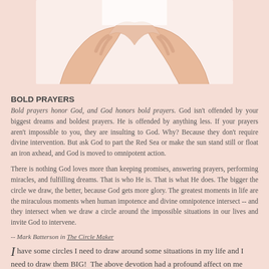[Figure (photo): Two pairs of hands forming a heart shape against a white background, cropped at top of page]
BOLD PRAYERS
Bold prayers honor God, and God honors bold prayers. God isn't offended by your biggest dreams and boldest prayers. He is offended by anything less. If your prayers aren't impossible to you, they are insulting to God. Why? Because they don't require divine intervention. But ask God to part the Red Sea or make the sun stand still or float an iron axhead, and God is moved to omnipotent action.
There is nothing God loves more than keeping promises, answering prayers, performing miracles, and fulfilling dreams. That is who He is. That is what He does. The bigger the circle we draw, the better, because God gets more glory. The greatest moments in life are the miraculous moments when human impotence and divine omnipotence intersect -- and they intersect when we draw a circle around the impossible situations in our lives and invite God to intervene.
-- Mark Batterson in The Circle Maker
I have some circles I need to draw around some situations in my life and I need to draw them BIG!  The above devotion had a profound affect on me